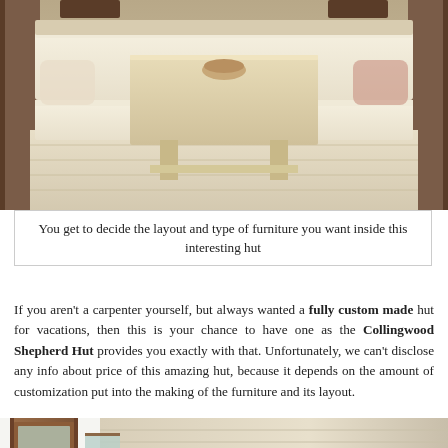[Figure (photo): Interior of a shepherd hut showing a wooden dining booth with cream/white upholstered bench seats arranged in a U-shape around a light wood table. The floor is light wood. Natural wood tones throughout.]
You get to decide the layout and type of furniture you want inside this interesting hut
If you aren't a carpenter yourself, but always wanted a fully custom made hut for vacations, then this is your chance to have one as the Collingwood Shepherd Hut provides you exactly with that. Unfortunately, we can't disclose any info about price of this amazing hut, because it depends on the amount of customization put into the making of the furniture and its layout.
[Figure (photo): Interior of a shepherd hut showing a wooden door with glass panel on the left, a small window, and light pine wood tongue-and-groove paneling on the curved ceiling/walls.]